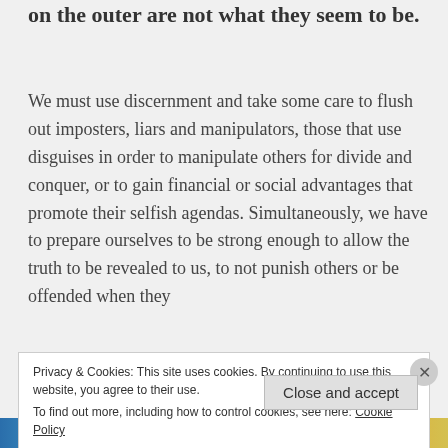on the outer are not what they seem to be.
We must use discernment and take some care to flush out imposters, liars and manipulators, those that use disguises in order to manipulate others for divide and conquer, or to gain financial or social advantages that promote their selfish agendas. Simultaneously, we have to prepare ourselves to be strong enough to allow the truth to be revealed to us, to not punish others or be offended when they
Privacy & Cookies: This site uses cookies. By continuing to use this website, you agree to their use.
To find out more, including how to control cookies, see here: Cookie Policy
Close and accept